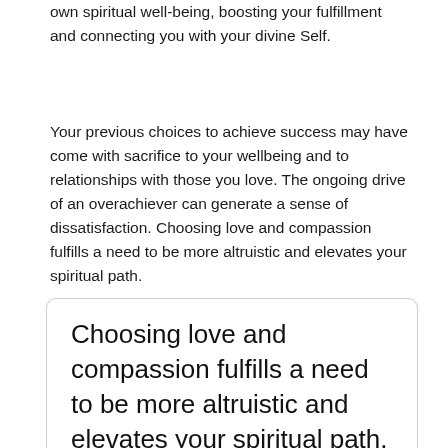own spiritual well-being, boosting your fulfillment and connecting you with your divine Self.
Your previous choices to achieve success may have come with sacrifice to your wellbeing and to relationships with those you love. The ongoing drive of an overachiever can generate a sense of dissatisfaction. Choosing love and compassion fulfills a need to be more altruistic and elevates your spiritual path.
Choosing love and compassion fulfills a need to be more altruistic and elevates your spiritual path.